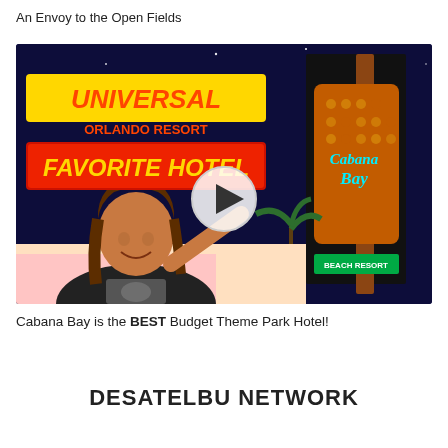An Envoy to the Open Fields
[Figure (screenshot): Video thumbnail showing a woman pointing at text 'Universal Orlando Resort Favorite Hotel' with the Cabana Bay Beach Resort neon sign on the right, with a play button overlay in the center. Night scene with colorful lighting.]
Cabana Bay is the BEST Budget Theme Park Hotel!
DESATELBU NETWORK